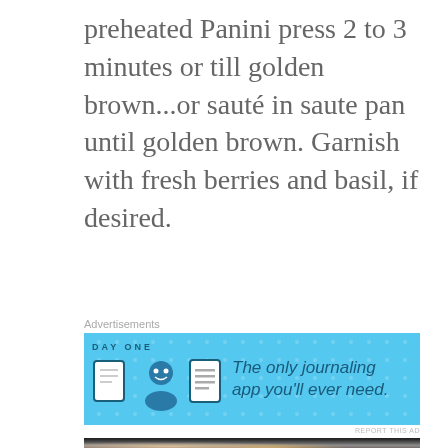preheated Panini press 2 to 3 minutes or till golden brown...or sauté in saute pan until golden brown. Garnish with fresh berries and basil, if desired.
[Figure (infographic): Advertisement banner for Day One journaling app with blue background, app icons, and text 'The only journaling app you'll ever need.']
[Figure (photo): Food photo showing a golden-brown cooked item (likely French toast or sandwich) on a dark surface with cooking pan visible.]